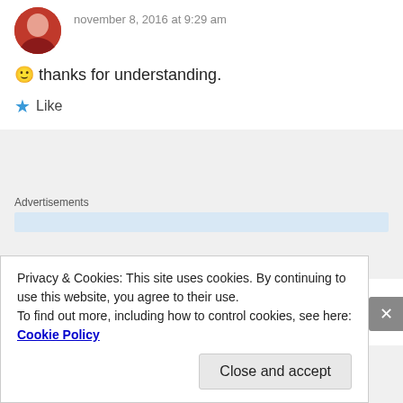november 8, 2016 at 9:29 am
🙂 thanks for understanding.
★ Like
Advertisements
deepanilamani
Privacy & Cookies: This site uses cookies. By continuing to use this website, you agree to their use.
To find out more, including how to control cookies, see here: Cookie Policy
Close and accept